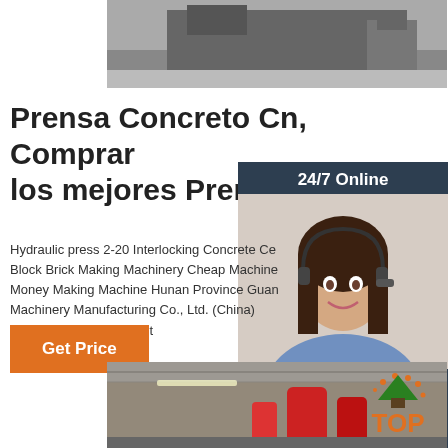[Figure (photo): Top portion of a machinery/equipment photo, dark colored industrial machine on a light floor]
Prensa Concreto Cn, Comprar los mejores Prensa Concrete
Hydraulic press 2-20 Interlocking Concrete Ce Block Brick Making Machinery Cheap Machine Money Making Machine Hunan Province Guan Machinery Manufacturing Co., Ltd. (China) $5,900.00-$6,900.00 Set
[Figure (photo): 24/7 Online chat agent - woman with headset smiling, with chat panel offering free quotation]
Get Price
[Figure (photo): Bottom industrial photo showing red machinery/equipment inside a factory building with metal roof]
[Figure (logo): TOP badge/logo in orange with decorative dots]